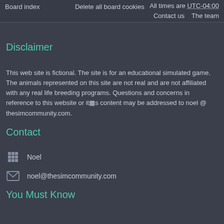Board index | Delete all board cookies | All times are UTC-04:00 | Contact us | The team
Disclaimer
This web site is fictional. The site is for an educational simulated game. The animals represented on this site are not real and are not affiliated with any real life breeding programs. Questions and concerns in reference to this website or it▦s content may be addressed to noel @ thesimcommunity.com.
Contact
Noel
noel@thesimcommunity.com
You Must Know